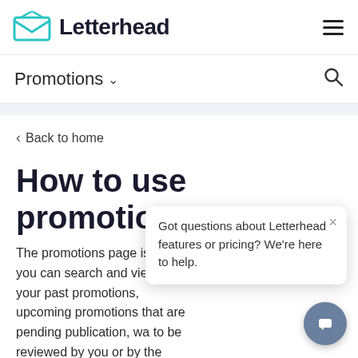Letterhead
Promotions
Back to home
How to use promotions
The promotions page is where you can search and view all of your past promotions, upcoming promotions that are pending publication, wa... to be reviewed by you or by the promoter, acc...
Got questions about Letterhead features or pricing? We're here to help.